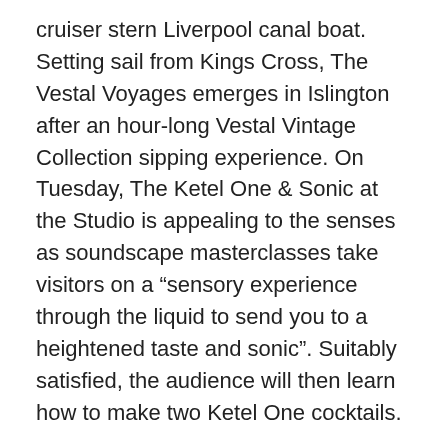cruiser stern Liverpool canal boat. Setting sail from Kings Cross, The Vestal Voyages emerges in Islington after an hour-long Vestal Vintage Collection sipping experience. On Tuesday, The Ketel One & Sonic at the Studio is appealing to the senses as soundscape masterclasses take visitors on a “sensory experience through the liquid to send you to a heightened taste and sonic”. Suitably satisfied, the audience will then learn how to make two Ketel One cocktails.
For trade-only events and white writstband wearers, Monin has teamed up with Jet Chill – the first dry ice drinks system – in its new Monin studio, London to showcase how the latest Jet Chill system operates in a three hour-long Monin & Jet Chill- Smoking Cocktails masterclass. Jet Chill directors Colin Myers and Robert Flunder will talk through the machines cocktail capabilities with James Coston, Monin UK brand ambassador.